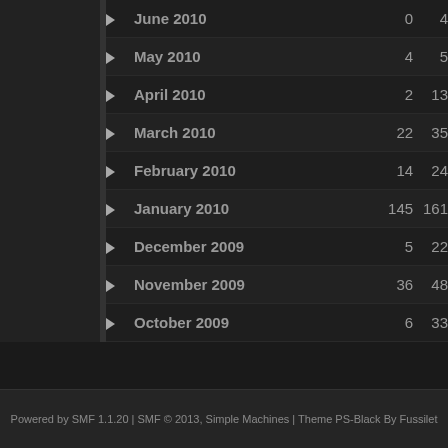|  | Month | Col1 | Col2 |
| --- | --- | --- | --- |
| ▶ | June 2010 | 0 | 4 |
| ▶ | May 2010 | 4 | 5 |
| ▶ | April 2010 | 2 | 13 |
| ▶ | March 2010 | 22 | 35 |
| ▶ | February 2010 | 14 | 24 |
| ▶ | January 2010 | 145 | 161 |
| ▶ | December 2009 | 5 | 22 |
| ▶ | November 2009 | 36 | 48 |
| ▶ | October 2009 | 6 | 33 |
| ▶ | September 2009 | 4 | 22 |
| ▶ | August 2009 | 12 | 62 |
| ▶ | July 2009 | 23 | 40 |
| ▶ | June 2009 | 12 | 14 |
Powered by SMF 1.1.20 | SMF © 2013, Simple Machines | Theme PS-Black By Fussilet